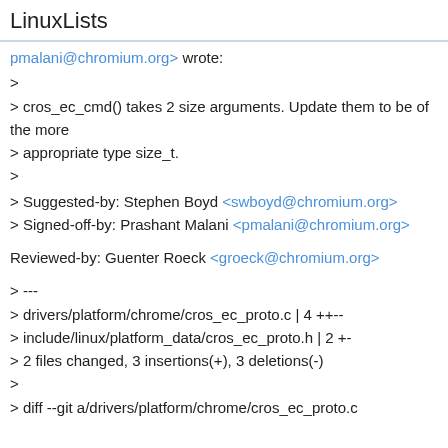LinuxLists
pmalani@chromium.org> wrote:
>
> cros_ec_cmd() takes 2 size arguments. Update them to be of the more
> appropriate type size_t.
>
> Suggested-by: Stephen Boyd <swboyd@chromium.org>
> Signed-off-by: Prashant Malani <pmalani@chromium.org>
Reviewed-by: Guenter Roeck <groeck@chromium.org>
> ---
> drivers/platform/chrome/cros_ec_proto.c | 4 ++--
> include/linux/platform_data/cros_ec_proto.h | 2 +-
> 2 files changed, 3 insertions(+), 3 deletions(-)
>
> diff --git a/drivers/platform/chrome/cros_ec_proto.c